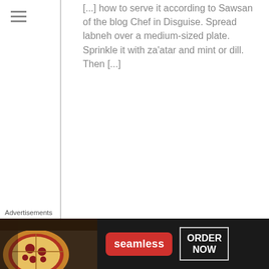[...] how to serve it according to Sawsan of the blog Chef in Disguise. Spread labneh over a medium-sized plate. Sprinkle it with za’atar and mint or dill. Then [...]
86
[Figure (illustration): Avatar image: blue and white geometric/diamond pattern square avatar for user Khalil Noueiry]
Khalil Noueiry on November 7, 2012 at 6:49 PM   Reply  ★ Like
Nice blog, very helping indeed, I m fascinated with your simple explanation and your kind replies to all comments, impressive, I was wondering Sawsan, have you ever checked ladneh’s yield from 1 kilo of yogurt? I know there are many factors
Advertisements
[Figure (screenshot): Seamless food delivery advertisement banner. Shows pizza on the left, a red Seamless logo/button in the center, and an ORDER NOW button on the right, all on a dark background.]